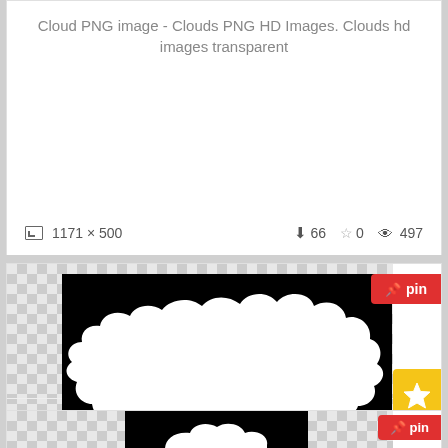Cloud PNG image - Clouds PNG HD Images. Clouds hd images transparent
1171 × 500   ⬇66  ☆0  👁497
[Figure (photo): Black and white silhouette of cloud against black background - cloud sixteen isolated stock image]
Clouds png. Cloud sixteen isolated stock
Download Full Size. Cloud sixteen isolated stock
1171 × 500   ⬇15  ☆0  👁482
[Figure (photo): Partial view of another cloud PNG image at the bottom of the page]